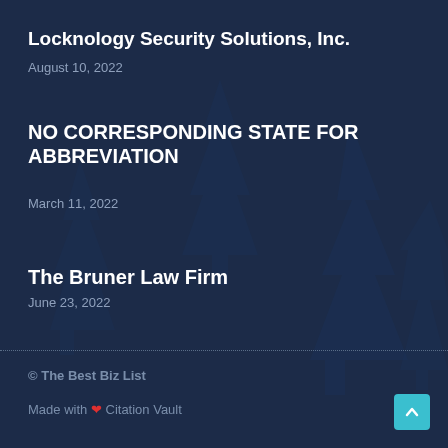Locknology Security Solutions, Inc.
August 10, 2022
NO CORRESPONDING STATE FOR ABBREVIATION
March 11, 2022
The Bruner Law Firm
June 23, 2022
© The Best Biz List
Made with ❤ Citation Vault